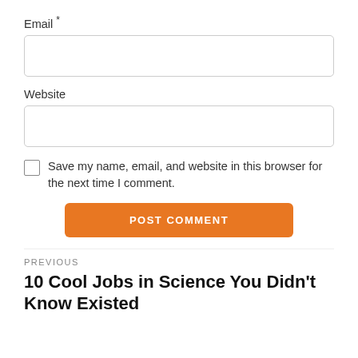Email *
Website
Save my name, email, and website in this browser for the next time I comment.
POST COMMENT
PREVIOUS
10 Cool Jobs in Science You Didn't Know Existed